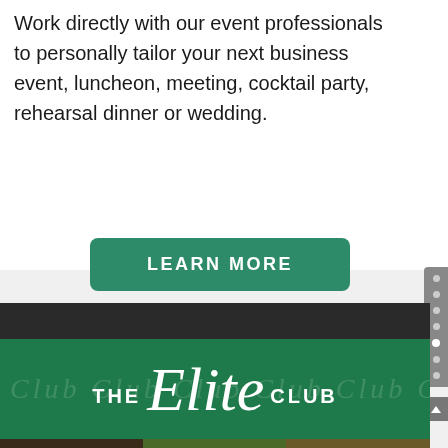Work directly with our event professionals to personally tailor your next business event, luncheon, meeting, cocktail party, rehearsal dinner or wedding.
[Figure (screenshot): Green rounded rectangle button with white uppercase text 'LEARN MORE']
[Figure (logo): The Elite Club logo: dark banner on top, green banner below with 'THE' on the left, cursive script 'Elite' in center, 'CLUB' on right, with decorative Club script watermark background]
[Figure (photo): Three photos at the bottom: coffee beans, a cocktail with garnish, and a food dish]